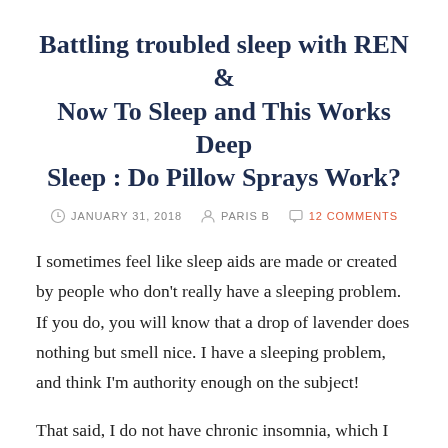Battling troubled sleep with REN & Now To Sleep and This Works Deep Sleep : Do Pillow Sprays Work?
JANUARY 31, 2018   PARIS B   12 COMMENTS
I sometimes feel like sleep aids are made or created by people who don't really have a sleeping problem. If you do, you will know that a drop of lavender does nothing but smell nice. I have a sleeping problem, and think I'm authority enough on the subject!
That said, I do not have chronic insomnia, which I consider a blessing. I used to sleep like a log when younger. I'd sleep through anything – fireworks, noise